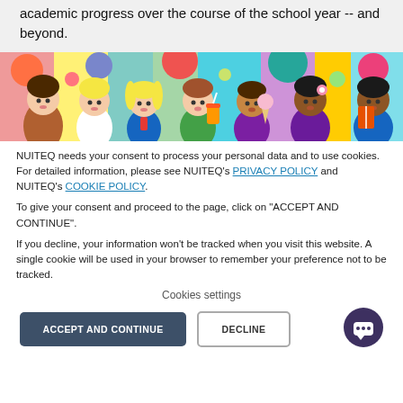academic progress over the course of the school year -- and beyond.
[Figure (illustration): Colorful cartoon illustration of a diverse group of children with school items against a vibrant multi-colored background.]
NUITEQ needs your consent to process your personal data and to use cookies. For detailed information, please see NUITEQ's PRIVACY POLICY and NUITEQ's COOKIE POLICY.
To give your consent and proceed to the page, click on "ACCEPT AND CONTINUE".
If you decline, your information won't be tracked when you visit this website. A single cookie will be used in your browser to remember your preference not to be tracked.
Cookies settings
ACCEPT AND CONTINUE
DECLINE